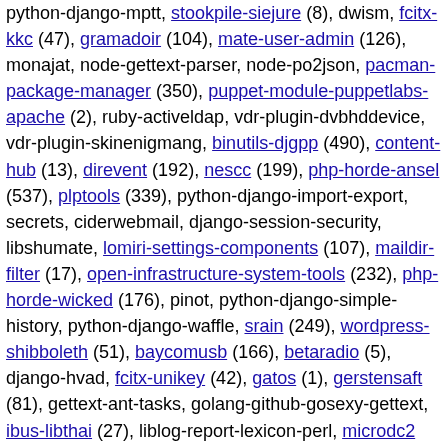python-django-mptt, stookpile-siejure (8), dwism, fcitx-kkc (47), gramadoir (104), mate-user-admin (126), monajat, node-gettext-parser, node-po2json, pacman-package-manager (350), puppet-module-puppetlabs-apache (2), ruby-activeldap, vdr-plugin-dvbhddevice, vdr-plugin-skinenigmang, binutils-djgpp (490), content-hub (13), direvent (192), nescc (199), php-horde-ansel (537), plptools (339), python-django-import-export, secrets, ciderwebmail, django-session-security, libshumate, lomiri-settings-components (107), maildir-filter (17), open-infrastructure-system-tools (232), php-horde-wicked (176), pinot, python-django-simple-history, python-django-waffle, srain (249), wordpress-shibboleth (51), baycomusb (166), betaradio (5), django-hvad, fcitx-unikey (42), gatos (1), gerstensaft (81), gettext-ant-tasks, golang-github-gosexy-gettext, ibus-libthai (27), liblog-report-lexicon-perl, microdc2 (401), php-horde-whups (575), python-django-crispy-forms-foundation, rbac-client-clojure (10), request-tracker5 (3067), rtpg (22), trapperkeeper-authorization-clojure (55), trapperkeeper-filesystem-watcher-clojure (7)...